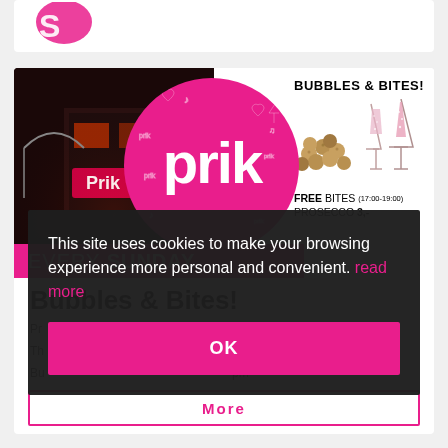[Figure (screenshot): Partial top of a white card showing a pink logo snippet at top of page]
[Figure (photo): Prik bar event banner: left side shows nighttime street bar photo with neon Prik sign and crowd, center has large pink circle with 'prik' logo, bottom pink strip reads 'EVERY SUNDAY', right side shows 'BUBBLES & BITES!' text with photos of truffles and prosecco glasses, free bites 17:00-19:00, Prosecco 3,-]
Bubbles & Bites!
Pr...
Th... pm...
Bu... pm...
This site uses cookies to make your browsing experience more personal and convenient. read more
OK
More